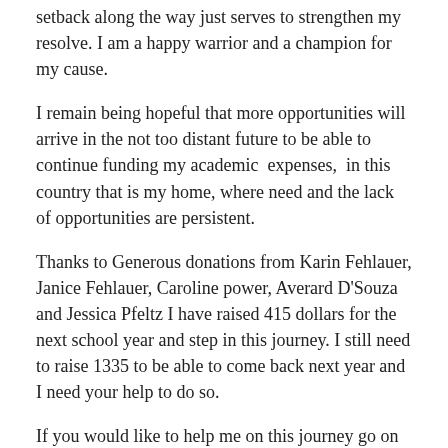setback along the way just serves to strengthen my resolve. I am a happy warrior and a champion for my cause.
I remain being hopeful that more opportunities will arrive in the not too distant future to be able to continue funding my academic expenses, in this country that is my home, where need and the lack of opportunities are persistent.
Thanks to Generous donations from Karin Fehlauer, Janice Fehlauer, Caroline power, Averard D'Souza and Jessica Pfeltz I have raised 415 dollars for the next school year and step in this journey. I still need to raise 1335 to be able to come back next year and I need your help to do so.
If you would like to help me on this journey go on over to http://www.solsite.org and click the donate button today. I can not do this without your help. Please consider sharing my story with your friends via Facebook. I greatly appreciate any action taken to help me.